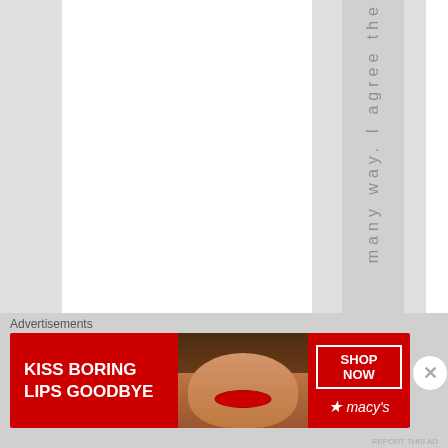[Figure (screenshot): A webpage layout showing vertical column stripes (alternating white and gray) with vertical text reading 'many way. I agree the' in a gray column, partially visible.]
Advertisements
[Figure (screenshot): Advertisement banner for Macy's with red background, text 'KISS BORING LIPS GOODBYE', a woman's face with red lips, 'SHOP NOW' button, and Macy's star logo.]